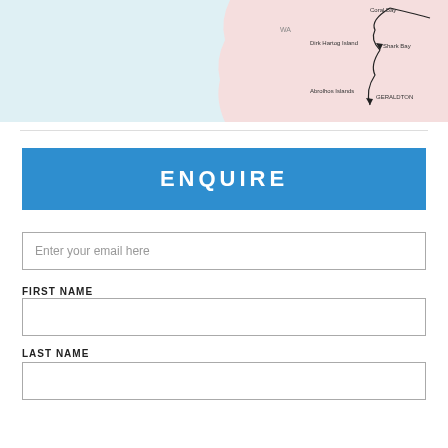[Figure (map): Map showing coastal route in Western Australia with locations: Coral Bay, Dirk Hartog Island, Shark Bay, Abrolhos Islands, and Geraldton. The map shows a light blue ocean area on the left and light pink land area on the right with a curved route line and arrows.]
ENQUIRE
Enter your email here
FIRST NAME
LAST NAME